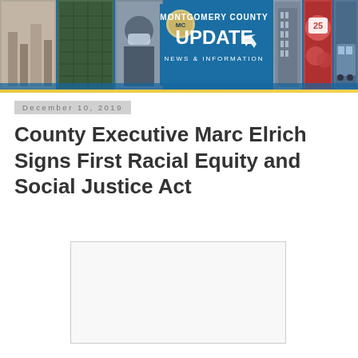[Figure (illustration): Montgomery County Update banner with photos of aerial view, solar panels, masked official, county seal, buildings, food, and bus. Text reads 'MONTGOMERY COUNTY UPDATE NEWS & INFORMATION']
December 10, 2019
County Executive Marc Elrich Signs First Racial Equity and Social Justice Act
[Figure (photo): Blank/white photo placeholder box]
Montgomery County Executive Marc Elrich signed the Racial